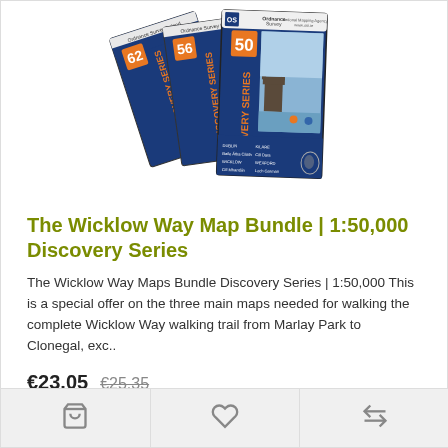[Figure (illustration): Three Ordnance Survey Ireland Discovery Series maps (numbers 62, 56, and 50) fanned out, showing blue covers with orange number labels and the text DISCOVERY SERIES]
The Wicklow Way Map Bundle | 1:50,000 Discovery Series
The Wicklow Way Maps Bundle Discovery Series | 1:50,000 This is a special offer on the three main maps needed for walking the complete Wicklow Way walking trail from Marlay Park to Clonegal, exc..
€23.05  €25.35
Ex Tax: €21.15